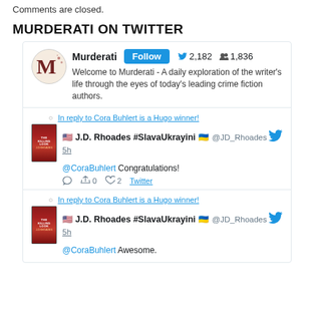Comments are closed.
MURDERATI ON TWITTER
[Figure (infographic): Murderati Twitter widget showing profile with logo, Follow button, 2,182 tweets, 1,836 followers, and bio text. Below are two tweets from J.D. Rhoades #SlavaUkrayini replying to Cora Buhlert is a Hugo winner!, one saying '@CoraBuhlert Congratulations!' and one saying '@CoraBuhlert Awesome.']